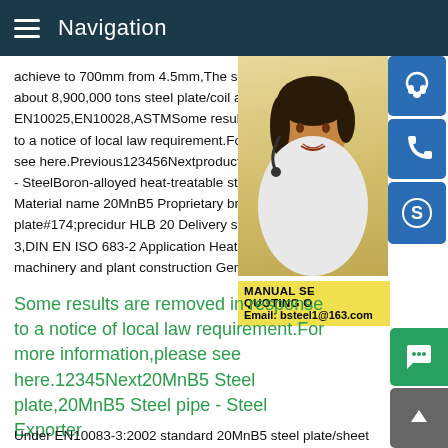Navigation
achieve to 700mm from 4.5mm,The supply about 8,900,000 tons steel plate/coil acco EN10025,EN10028,ASTMSome results are to a notice of local law requirement.For more see here.Previous123456Nextproductinfo - SteelBoron-alloyed heat-treatable steel Material name 20MnB5 Proprietary brand plate#174;precidur HLB 20 Delivery speci 3,DIN EN ISO 683-2 Application Heat-trea machinery and plant construction General
[Figure (photo): Customer service representative woman wearing headset, with contact icons (headset, phone, Skype) and a yellow box showing MANUAL SERVICE QUOTING and Email: bsteel1@163.com]
Some results are removed in response to a notice of local law requirement.For more information,please see here.12345Next20MnB5 Steel plate,20MnB5 Steel pipe - Steel Exporter
Under EN10083-3:2002 standard 20MnB5 steel plate/sheet